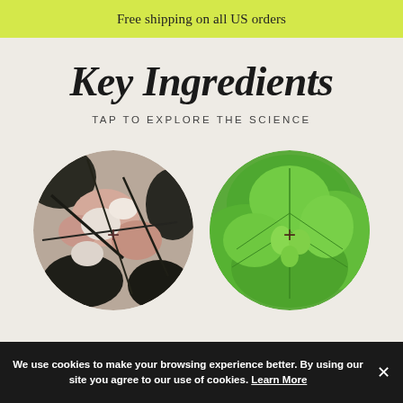Free shipping on all US orders
Key Ingredients
TAP TO EXPLORE THE SCIENCE
[Figure (photo): Circular close-up photo of tree bark with mossy, cracked, pink and white texture, with a small '+' symbol in the center.]
[Figure (photo): Circular close-up photo of bright green leaves with visible veins and a small plant sprout, with a small '+' symbol in the center.]
We use cookies to make your browsing experience better. By using our site you agree to our use of cookies. Learn More